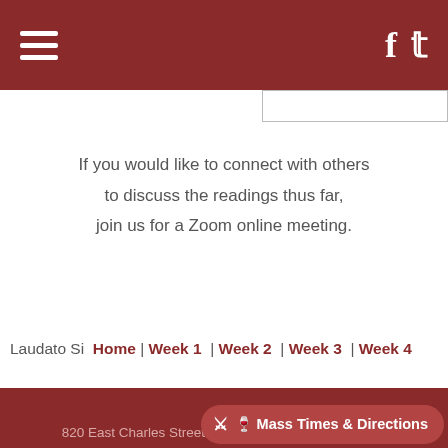Navigation bar with hamburger menu and social icons (Facebook, Twitter)
If you would like to connect with others to discuss the readings thus far, join us for a Zoom online meeting.
Laudato Si  Home | Week 1 | Week 2 | Week 3 | Week 4
820 East Charles Street  |  Muncie, Indiana  47305  |  |  fax: 765.289.9262